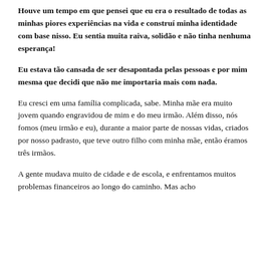Houve um tempo em que pensei que eu era o resultado de todas as minhas piores experiências na vida e construí minha identidade com base nisso. Eu sentia muita raiva, solidão e não tinha nenhuma esperança!
Eu estava tão cansada de ser desapontada pelas pessoas e por mim mesma que decidi que não me importaria mais com nada.
Eu cresci em uma família complicada, sabe. Minha mãe era muito jovem quando engravidou de mim e do meu irmão. Além disso, nós fomos (meu irmão e eu), durante a maior parte de nossas vidas, criados por nosso padrasto, que teve outro filho com minha mãe, então éramos três irmãos.
A gente mudava muito de cidade e de escola, e enfrentamos muitos problemas financeiros ao longo do caminho. Mas acho que também tivemos boas fases, mesmo que faltasse...